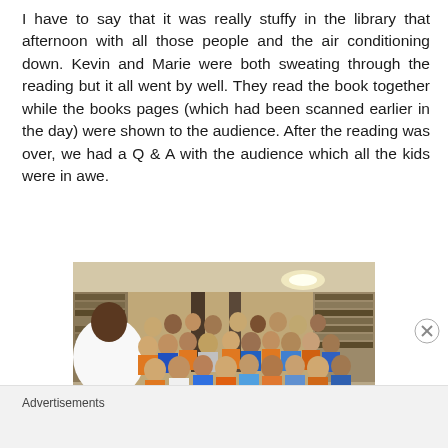I have to say that it was really stuffy in the library that afternoon with all those people and the air conditioning down. Kevin and Marie were both sweating through the reading but it all went by well. They read the book together while the books pages (which had been scanned earlier in the day) were shown to the audience. After the reading was over, we had a Q & A with the audience which all the kids were in awe.
[Figure (photo): A man speaking to a large crowd of children and adults gathered in a library, with bookshelves visible in the background.]
Advertisements